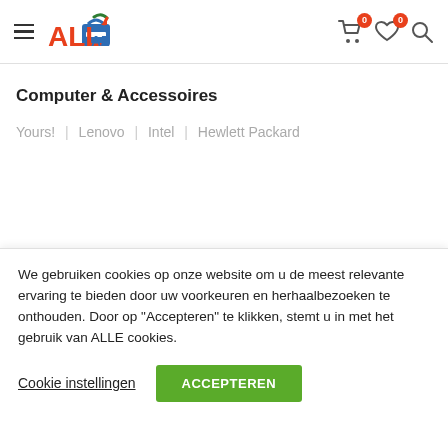ALLAZ — header with hamburger menu, logo, cart (0), wishlist (0), search
Computer & Accessoires
Yours! | Lenovo | Intel | Hewlett Packard
[Figure (logo): ALLAZ logo with shopping bag icon, partially visible in page section]
We gebruiken cookies op onze website om u de meest relevante ervaring te bieden door uw voorkeuren en herhaalbezoeken te onthouden. Door op "Accepteren" te klikken, stemt u in met het gebruik van ALLE cookies.
Cookie instellingen   ACCEPTEREN